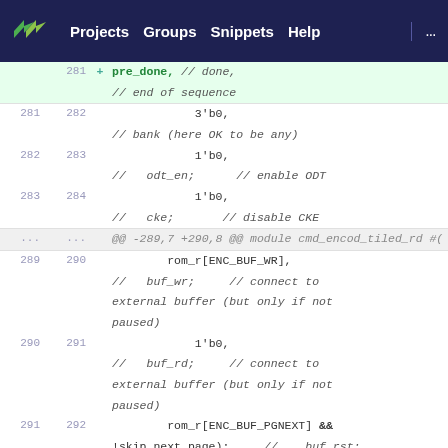Projects  Groups  Snippets  Help  ...
+ 281  pre_done, // done,
// end of sequence
281 282  3'b0,
// bank (here OK to be any)
282 283  1'b0,
//   odt_en;      // enable ODT
283 284  1'b0,
//   cke;        // disable CKE
...  ... @@ -289,7 +290,8 @@ module cmd_encod_tiled_rd #(
289 290  rom_r[ENC_BUF_WR],
//   buf_wr;      // connect to external buffer (but only if not paused)
290 291  1'b0,
//   buf_rd;      // connect to external buffer (but only if not paused)
291 292  rom_r[ENC_BUF_PGNEXT] && !skip_next_page);  //  buf_rst;